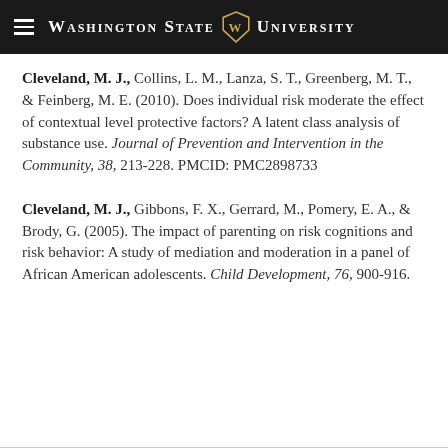Washington State University
Cleveland, M. J., Collins, L. M., Lanza, S. T., Greenberg, M. T., & Feinberg, M. E. (2010). Does individual risk moderate the effect of contextual level protective factors? A latent class analysis of substance use. Journal of Prevention and Intervention in the Community, 38, 213-228. PMCID: PMC2898733
Cleveland, M. J., Gibbons, F. X., Gerrard, M., Pomery, E. A., & Brody, G. (2005). The impact of parenting on risk cognitions and risk behavior: A study of mediation and moderation in a panel of African American adolescents. Child Development, 76, 900-916.